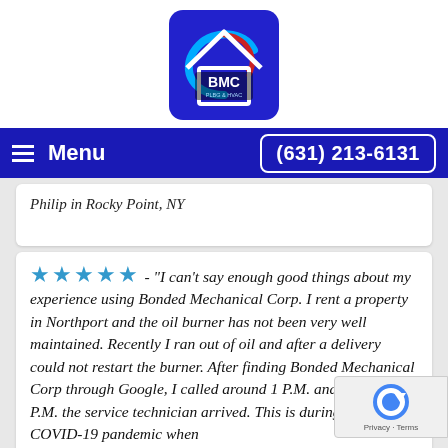[Figure (logo): BMC Plumbing & HVAC logo - blue rounded square with white house outline, BMC text, and blue/red swoosh design]
Menu  (631) 213-6131
Philip in Rocky Point, NY
★★★★★ - "I can't say enough good things about my experience using Bonded Mechanical Corp. I rent a property in Northport and the oil burner has not been very well maintained. Recently I ran out of oil and after a delivery could not restart the burner. After finding Bonded Mechanical Corp through Google, I called around 1 P.M. and by 2:30 P.M. the service techni arrived. This is during the COVID-19 pandemic when